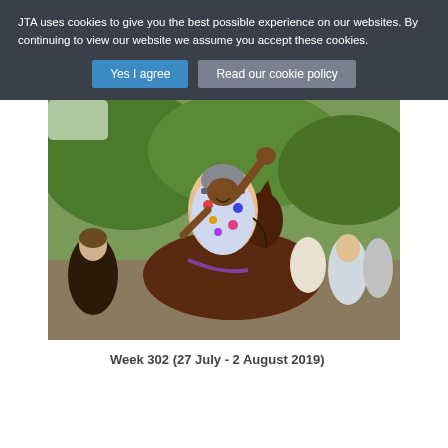JTA uses cookies to give you the best possible experience on our websites. By continuing to view our website we assume you accept these cookies.
Yes I agree | Read our cookie policy
[Figure (photo): A jockey in a colorful patterned shirt and helmet, raising one hand triumphantly while seated on a dark brown horse after a race. A woman and other people are visible around the horse in what appears to be a winners enclosure.]
Week 302 (27 July - 2 August 2019)